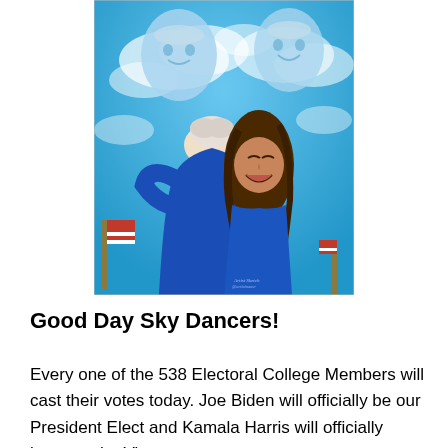[Figure (illustration): A painted illustration showing two figures embracing — an older man with white hair in a blue suit hugging a woman with long brown hair who is laughing joyfully. The background shows a blue sky with clouds and ghostly portrait faces of the man rendered above. An American flag is partially visible in the lower left corner. A small artist signature is visible in the lower right area of the painting.]
Good Day Sky Dancers!
Every one of the 538 Electoral College Members will cast their votes today. Joe Biden will officially be our President Elect and Kamala Harris will officially become the Vice